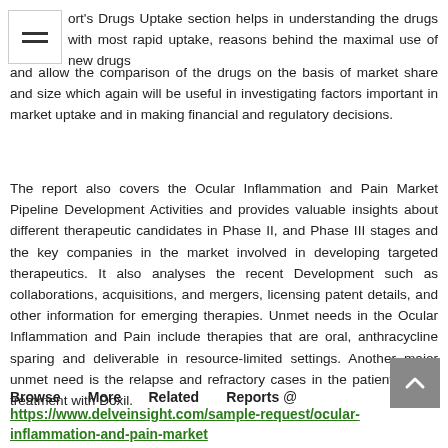ort's Drugs Uptake section helps in understanding the drugs with most rapid uptake, reasons behind the maximal use of new drugs and allow the comparison of the drugs on the basis of market share and size which again will be useful in investigating factors important in market uptake and in making financial and regulatory decisions.
The report also covers the Ocular Inflammation and Pain Market Pipeline Development Activities and provides valuable insights about different therapeutic candidates in Phase II, and Phase III stages and the key companies in the market involved in developing targeted therapeutics. It also analyses the recent Development such as collaborations, acquisitions, and mergers, licensing patent details, and other information for emerging therapies. Unmet needs in the Ocular Inflammation and Pain include therapies that are oral, anthracycline sparing and deliverable in resource-limited settings. Another major unmet need is the relapse and refractory cases in the patients given treatment with Doxil.
Browse More Related Reports @ https://www.delveinsight.com/sample-request/ocular-inflammation-and-pain-market